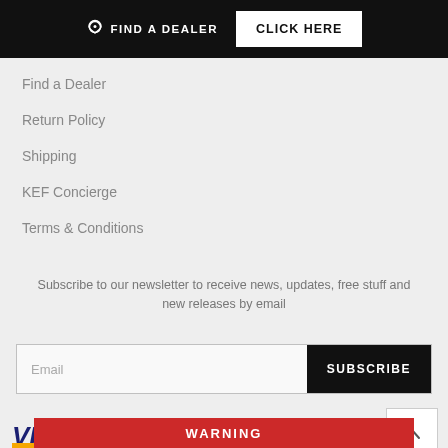FIND A DEALER   CLICK HERE
Find a Dealer
Return Policy
Shipping
KEF Concierge
Terms & Conditions
Subscribe to our newsletter to receive news, updates, free stuff and new releases by email
Email   SUBSCRIBE
[Figure (logo): Payment method logos: VISA, PayPal, MasterCard, American Express, and partially visible logo; scroll-to-top arrow button]
WARNING